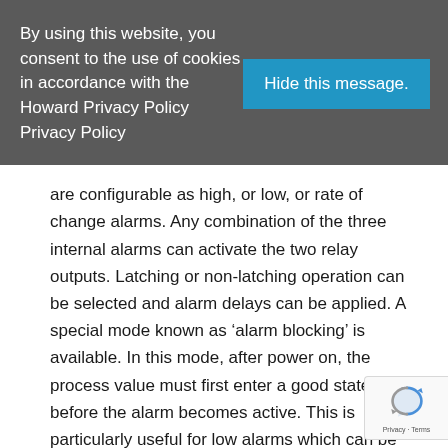By using this website, you consent to the use of cookies in accordance with the Howard Privacy Policy Privacy Policy
Hide this message.
are configurable as high, or low, or rate of change alarms. Any combination of the three internal alarms can activate the two relay outputs. Latching or non-latching operation can be selected and alarm delays can be applied. A special mode known as 'alarm blocking' is available. In this mode, after power on, the process value must first enter a good state before the alarm becomes active. This is particularly useful for low alarms which can be 'blocked' while the process is warming-up. Calibration accuracy is preserved with a self-correcting input circuit, while a User Calibration facility allows offsets to be applied to compensa